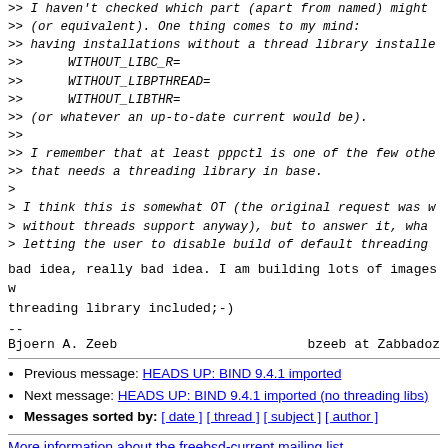>> I haven't checked which part (apart from named) might...
>> (or equivalent). One thing comes to my mind:
>> having installations without a thread library installe...
>>		WITHOUT_LIBC_R=
>>		WITHOUT_LIBPTHREAD=
>>		WITHOUT_LIBTHR=
>> (or whatever an up-to-date current would be).
>>
>> I remember that at least pppctl is one of the few othe...
>> that needs a threading library in base.
>
> I think this is somewhat OT (the original request was w...
> without threads support anyway), but to answer it, wha...
> letting the user to disable build of default threading ...
bad idea, really bad idea. I am building lots of images w...
threading library included;-)
--
Bjoern A. Zeeb                                    bzeeb at Zabbadoz...
Previous message: HEADS UP: BIND 9.4.1 imported
Next message: HEADS UP: BIND 9.4.1 imported (no threading libs)
Messages sorted by: [ date ] [ thread ] [ subject ] [ author ]
More information about the freebsd-current mailing list